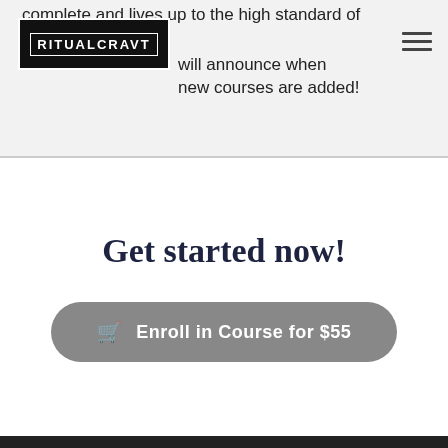complete and lives up to the high standard of will announce when new courses are added!
[Figure (logo): RITUALCRAVT logo in white text on black background with decorative border]
Get started now!
Enroll in Course for $55